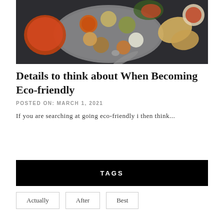[Figure (photo): Overhead shot of Indian food spread on a dark background — a large round thali tray with multiple small bowls containing various curries, raita, and garnished dishes, alongside naan bread and additional side dishes]
Details to think about When Becoming Eco-friendly
POSTED ON: MARCH 1, 2021
If you are searching at going eco-friendly i then think...
TAGS
Actually
After
Best